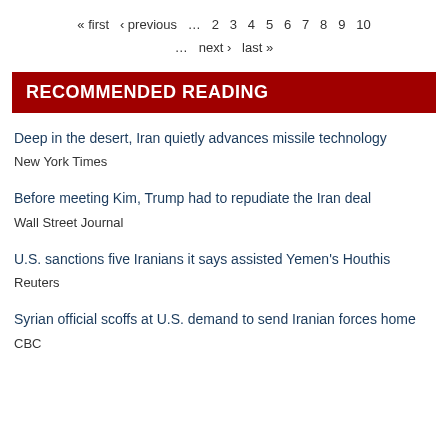« first ‹ previous … 2 3 4 5 6 7 8 9 10 … next › last »
RECOMMENDED READING
Deep in the desert, Iran quietly advances missile technology
New York Times
Before meeting Kim, Trump had to repudiate the Iran deal
Wall Street Journal
U.S. sanctions five Iranians it says assisted Yemen's Houthis
Reuters
Syrian official scoffs at U.S. demand to send Iranian forces home
CBC